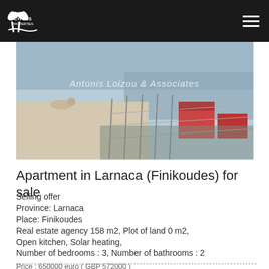Cyprus Properties
[Figure (photo): Exterior rooftop/balcony of an apartment building in Larnaca with city and sea views in background, watermark reads 'Antonis Loizou & Associates']
Apartment in Larnaca (Finikoudes) for sale
Selling offer
Province: Larnaca
Place: Finikoudes
Real estate agency 158 m2, Plot of land 0 m2,
Open kitchen, Solar heating,
Number of bedrooms : 3, Number of bathrooms : 2
Price : 650000 euro ( GBP 572000 )